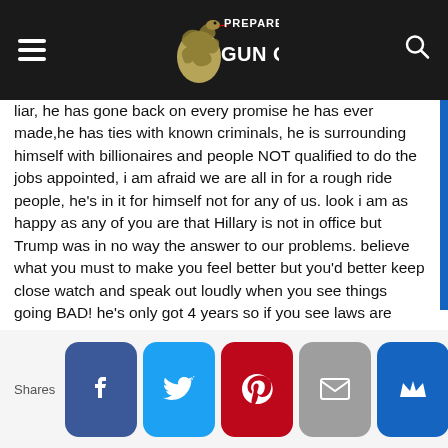[Figure (logo): Prepared Gun Owners logo with snake and text on dark navbar]
liar, he has gone back on every promise he has ever made,he has ties with known criminals, he is surrounding himself with billionaires and people NOT qualified to do the jobs appointed, i am afraid we are all in for a rough ride people, he's in it for himself not for any of us. look i am as happy as any of you are that Hillary is not in office but Trump was in no way the answer to our problems. believe what you must to make you feel better but you'd better keep close watch and speak out loudly when you see things going BAD! he's only got 4 years so if you see laws are being passed and our rights are being suppressed so that it makes it hard to get him out of office you'd better damn well speak out! he's only there because of the promise he made to the people, hold him to it!
[Figure (infographic): Row of social share buttons: Facebook, Twitter, Pinterest, Email, Crown/Notification with Shares label]